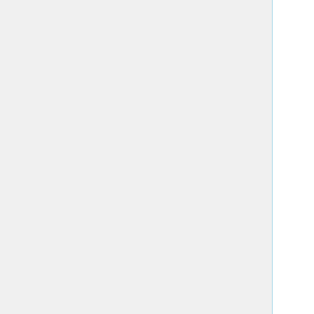perl-Net-SSH-Perl import dsilakov
perl-Net-Syslog import dsilakov
perl-Net-Telnet-Cisco import dsilakov
perl-Net-TFTP import dsilakov
perl-Net-Tor-Servers import dsilakov
perl-Net-Trac import dsilakov
perl-Net-Traceroute import dsilakov
perl-Net-Twitter import dsilakov
perl-Net-UPnP import dsilakov
perl-Net-Write import dsilakov
perl-Net-XWhois import dsilakov
perl-Newt import dsilakov
perl-NEXT import dsilakov